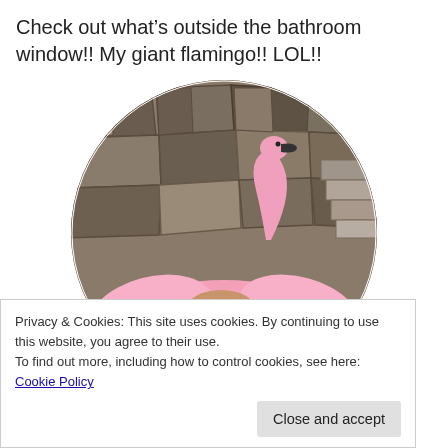Check out what’s outside the bathroom window!! My giant flamingo!! LOL!!
[Figure (photo): Circular cropped photo of a person lying on a giant pink inflatable flamingo float, photographed from above, with a stone/rock wall background visible behind them.]
Privacy & Cookies: This site uses cookies. By continuing to use this website, you agree to their use.
To find out more, including how to control cookies, see here: Cookie Policy
Close and accept